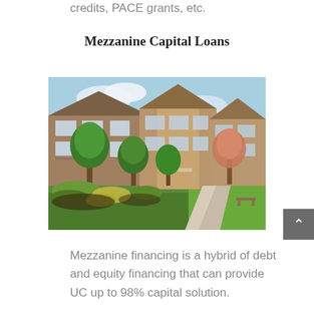credits, PACE grants, etc.
Mezzanine Capital Loans
[Figure (photo): Exterior view of a multi-story residential apartment complex with lush green landscaping, trees, and a walkway in the foreground under a blue sky.]
Mezzanine financing is a hybrid of debt and equity financing that can provide UC up to 98% capital solution.